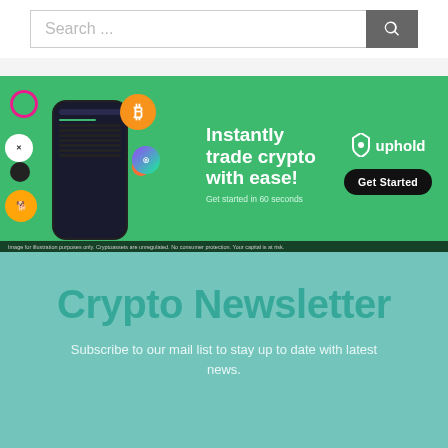[Figure (screenshot): Search bar with text 'Search ...' and a grey search button with a magnifying glass icon]
[Figure (infographic): Uphold crypto trading advertisement banner on green background. Shows a phone mockup with crypto coins (Bitcoin, XRP, Solana, Shiba Inu). Text: 'Instantly trade crypto with ease! Get started in 60 seconds'. Uphold logo and 'Get Started' button. Disclaimer: 'Image for illustration purposes only. Cryptoassets are unregulated. No consumer protection. Your capital is at risk.']
Crypto Newsletter
Subscribe to our mail list to stay up to date with latest news.